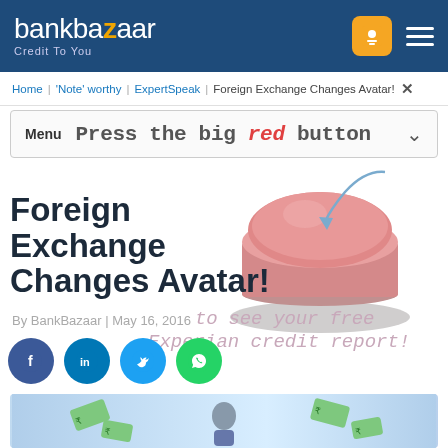bankbazaar Credit To You
Home | 'Note' worthy | ExpertSpeak | Foreign Exchange Changes Avatar!
Menu  Press the big red button
[Figure (illustration): Large pink/red 3D button on a plate, with a blue arrow pointing to it, and overlay text 'to see your free Experian credit report!']
Foreign Exchange Changes Avatar!
By BankBazaar | May 16, 2016
[Figure (illustration): Social media share icons row: Facebook, LinkedIn, Twitter, WhatsApp circles]
[Figure (illustration): Bottom banner image showing a person with flying money/currency notes on a blue background]